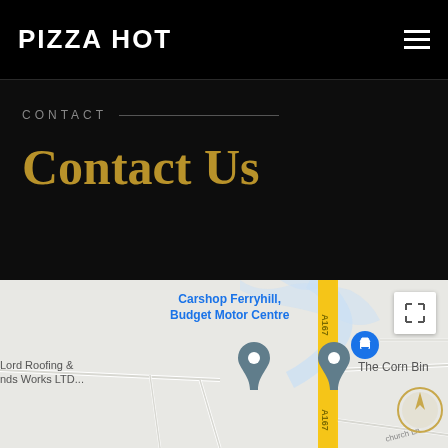PIZZA HOT
CONTACT
Contact Us
[Figure (map): Google Maps screenshot showing area around Ferryhill with A167 road, markers for Carshop Ferryhill Budget Motor Centre, Lord Roofing & Grounds Works LTD, The Corn Bin, The Manor House, and Greggs]